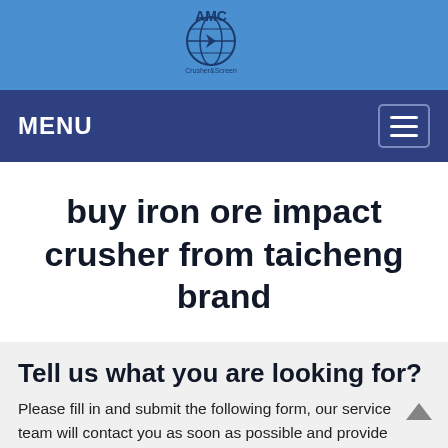[Figure (logo): AMC Crusher logo with globe icon and company name in a blue header banner]
MENU
buy iron ore impact crusher from taicheng brand
Tell us what you are looking for?
Please fill in and submit the following form, our service team will contact you as soon as possible and provide a complete solution.